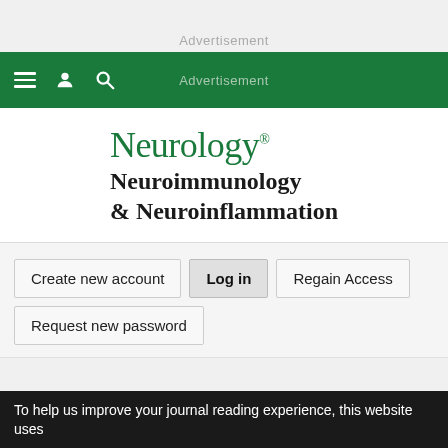Advertisement
Neurology® Neuroimmunology & Neuroinflammation
Create new account
Log in
Regain Access
Request new password
Log in
To help us improve your journal reading experience, this website uses